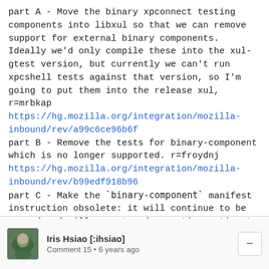part A - Move the binary xpconnect testing components into libxul so that we can remove support for external binary components. Ideally we'd only compile these into the xul-gtest version, but currently we can't run xpcshell tests against that version, so I'm going to put them into the release xul, r=mrbkap
https://hg.mozilla.org/integration/mozilla-inbound/rev/a99c6ce96b6f
part B - Remove the tests for binary-component which is no longer supported. r=froydnj
https://hg.mozilla.org/integration/mozilla-inbound/rev/b99edf918b96
part C - Make the `binary-component` manifest instruction obsolete: it will continue to be parsed and will report a deprecation notice to the browser console. r=froydnj
Iris Hsiao [:ihsiao]
Comment 15 • 6 years ago